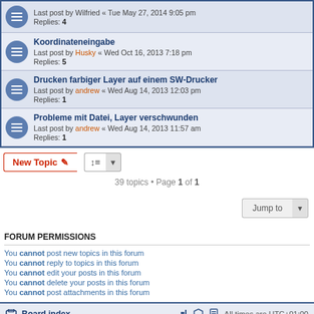Last post by Wilfried « Tue May 27, 2014 9:05 pm
Replies: 4
Koordinateneingabe
Last post by Husky « Wed Oct 16, 2013 7:18 pm
Replies: 5
Drucken farbiger Layer auf einem SW-Drucker
Last post by andrew « Wed Aug 14, 2013 12:03 pm
Replies: 1
Probleme mit Datei, Layer verschwunden
Last post by andrew « Wed Aug 14, 2013 11:57 am
Replies: 1
39 topics • Page 1 of 1
FORUM PERMISSIONS
You cannot post new topics in this forum
You cannot reply to topics in this forum
You cannot edit your posts in this forum
You cannot delete your posts in this forum
You cannot post attachments in this forum
Board index   All times are UTC+01:00
Powered by phpBB® Forum Software © phpBB Limited
Time: 0.068s | Queries: 15 | Peak Memory Usage: 2.75 MiB